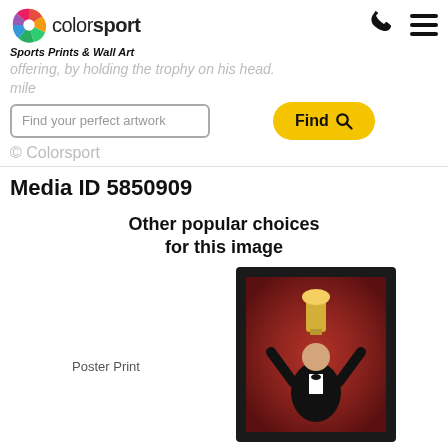[Figure (logo): Colorsport logo with colorful shutter/pinwheel icon and text 'colorsport']
Sports Prints & Wall Art
offering, by holding the trophy on his head.
mile
Find your perfect artwork
Find
© Colorsport
Media ID 5850909
Other popular choices for this image
Poster Print
[Figure (photo): Framed print product showing a person holding a trophy above their head in front of a crowd, displayed in a black frame with white mat]
Framed Print
[Figure (photo): Bottom left partial image showing a sports scene with red/dark colors]
[Figure (photo): Bottom right partial image showing a lighter colored product]